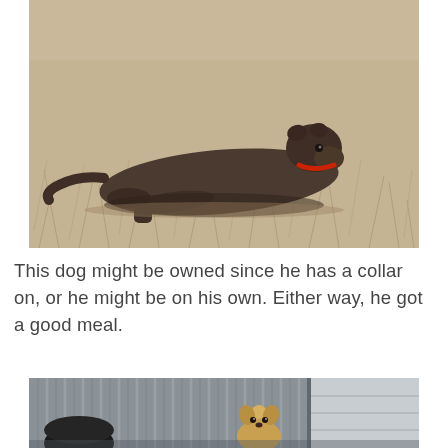[Figure (photo): A dark brown/grey pit bull type dog wearing a red collar, lying down on dry winter grass, looking at the camera.]
This dog might be owned since he has a collar on, or he might be on his own. Either way, he got a good meal.
[Figure (photo): Partial view of a small fluffy golden/white dog near a corrugated metal building/shed, with a black cylindrical object on the ground to the left.]